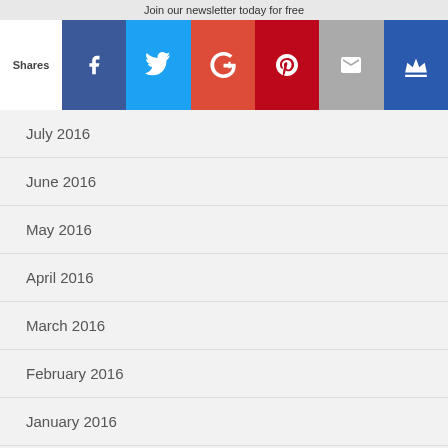Join our newsletter today for free
[Figure (infographic): Social share bar with Facebook, Twitter, Google+, Pinterest, Email, and Crown buttons]
July 2016
June 2016
May 2016
April 2016
March 2016
February 2016
January 2016
December 2015